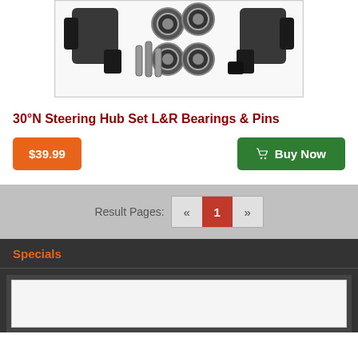[Figure (photo): Product photo showing RC car steering hub set parts: black plastic knuckle arms, metal bearings/rings, and pins on white background]
30°N Steering Hub Set L&R Bearings & Pins
$39.99
Buy Now
Result Pages: « 1 »
Specials
[Figure (photo): Specials section product image placeholder (white rectangle inside dark box)]